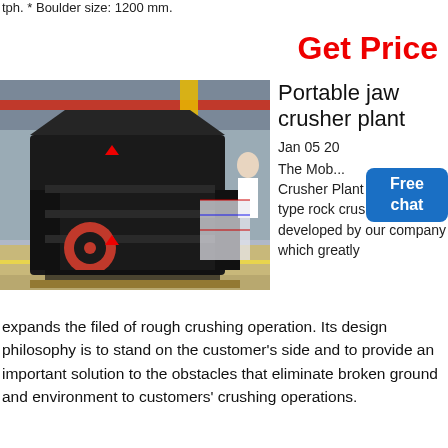tph. * Boulder size: 1200 mm.
Get Price
[Figure (photo): Large black portable jaw crusher / impact crusher machine in an industrial factory warehouse with yellow crane overhead and colorful tarps in the background. A person in white is partially visible at the right side.]
Portable jaw crusher plant
Jan 05 20... The Mob... Crusher Plant is a new type rock crushing device developed by our company which greatly
[Figure (other): Blue Free chat button overlay]
expands the filed of rough crushing operation. Its design philosophy is to stand on the customer's side and to provide an important solution to the obstacles that eliminate broken ground and environment to customers' crushing operations.